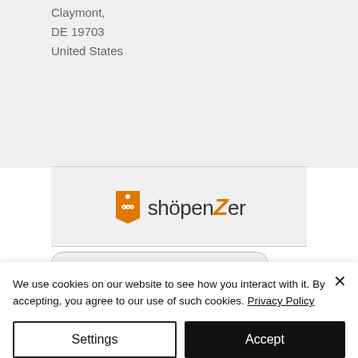Claymont,
DE 19703
United States
[Figure (logo): shöpenZer logo with orange price tag icon and stylized orange Z]
We use cookies on our website to see how you interact with it. By accepting, you agree to our use of such cookies. Privacy Policy
Settings
Accept